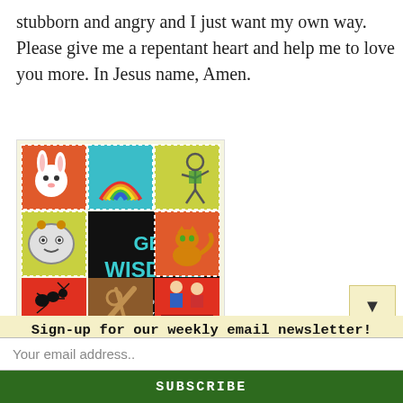stubborn and angry and I just want my own way. Please give me a repentant heart and help me to love you more. In Jesus name, Amen.
[Figure (illustration): Book cover of 'Get Wisdom! 23 Lessons for Children About Living for Jesus' by Ruth Younts. The cover shows a colorful grid of illustrated panels including a rabbit, rainbow, stick figure child, alarm clock with face, cat, ant, scissors, and two children. The center panel on black background reads 'GET WISDOM!' in teal/blue letters.]
Sign-up for our weekly email newsletter!
Your email address..
SUBSCRIBE